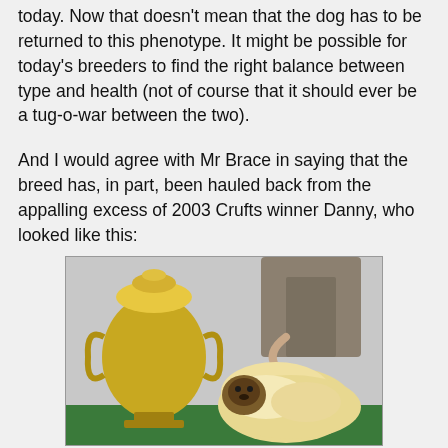today. Now that doesn't mean that the dog has to be returned to this phenotype. It might be possible for today's breeders to find the right balance between type and health (not of course that it should ever be a tug-o-war between the two).
And I would agree with Mr Brace in saying that the breed has, in part, been hauled back from the appalling excess of 2003 Crufts winner Danny, who looked like this:
[Figure (photo): Photo of a Pekingese dog (Danny, 2003 Crufts winner) standing next to a large ornate silver trophy on a green table, with a handler in a grey suit visible behind.]
This is the 2013 Crufts BOB, btw... a real improvement.  Still